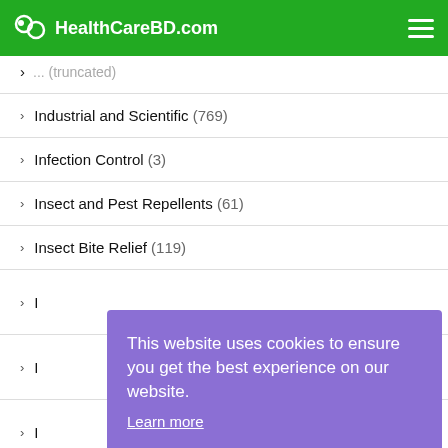HealthCareBD.com
Industrial and Scientific (769)
Infection Control (3)
Insect and Pest Repellents (61)
Insect Bite Relief (119)
I... (partially visible)
I... (partially visible)
I... (partially visible)
I... (partially visible)
It... (partially visible)
This website uses cookies to ensure you get the best experience on our website. Learn more Got it